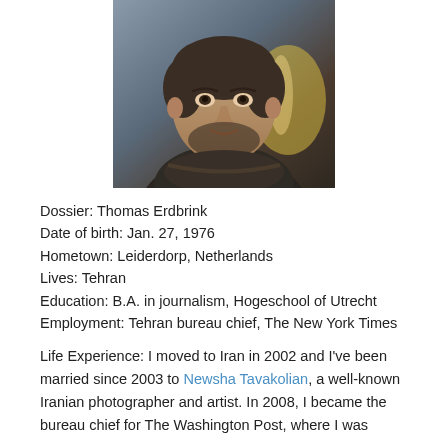[Figure (photo): Portrait photo of Thomas Erdbrink, a man with short dark hair and beard, wearing a dark jacket/scarf, with blurred background]
Dossier: Thomas Erdbrink
Date of birth: Jan. 27, 1976
Hometown: Leiderdorp, Netherlands
Lives: Tehran
Education: B.A. in journalism, Hogeschool of Utrecht
Employment: Tehran bureau chief, The New York Times
Life Experience: I moved to Iran in 2002 and I've been married since 2003 to Newsha Tavakolian, a well-known Iranian photographer and artist. In 2008, I became the bureau chief for The Washington Post, where I was